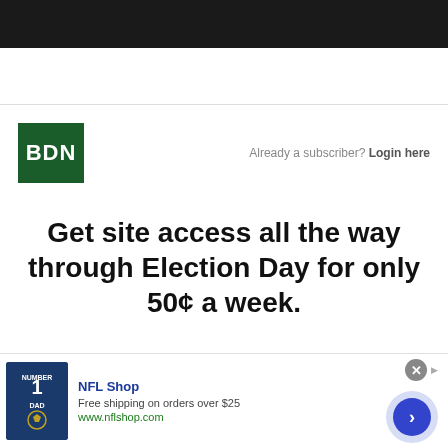[Figure (logo): BDN logo — white bold text on dark green background]
Already a subscriber? Login here
Get site access all the way through Election Day for only 50¢ a week.
[Figure (infographic): NFL Shop advertisement banner: Dallas Cowboys shirt image, NFL Shop text, Free shipping on orders over $25, www.nflshop.com, close button, arrow button]